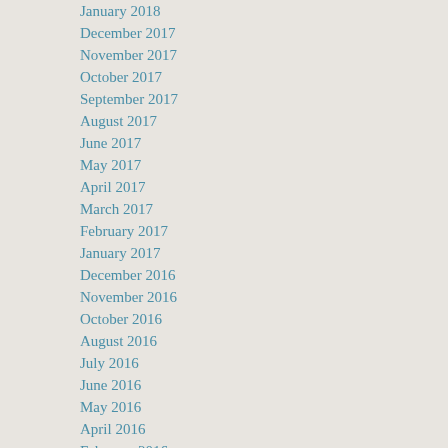January 2018
December 2017
November 2017
October 2017
September 2017
August 2017
June 2017
May 2017
April 2017
March 2017
February 2017
January 2017
December 2016
November 2016
October 2016
August 2016
July 2016
June 2016
May 2016
April 2016
February 2016
December 2015
September 2015
July 2015
June 2015
May 2015